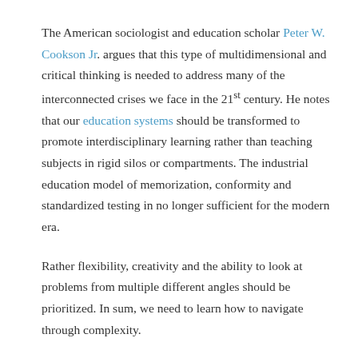The American sociologist and education scholar Peter W. Cookson Jr. argues that this type of multidimensional and critical thinking is needed to address many of the interconnected crises we face in the 21st century. He notes that our education systems should be transformed to promote interdisciplinary learning rather than teaching subjects in rigid silos or compartments. The industrial education model of memorization, conformity and standardized testing in no longer sufficient for the modern era.
Rather flexibility, creativity and the ability to look at problems from multiple different angles should be prioritized. In sum, we need to learn how to navigate through complexity.